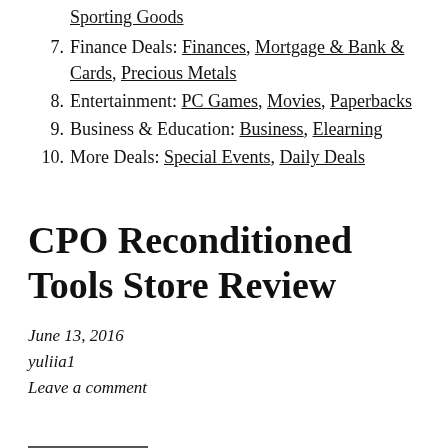Sporting Goods
7. Finance Deals: Finances, Mortgage & Bank & Cards, Precious Metals
8. Entertainment: PC Games, Movies, Paperbacks
9. Business & Education: Business, Elearning
10. More Deals: Special Events, Daily Deals
CPO Reconditioned Tools Store Review
June 13, 2016
yuliia1
Leave a comment